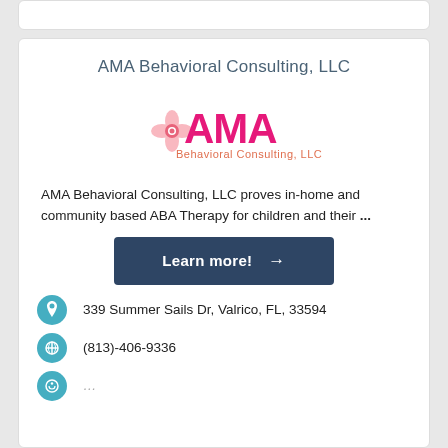AMA Behavioral Consulting, LLC
[Figure (logo): AMA Behavioral Consulting, LLC logo with pink/magenta AMA text and a decorative icon, subtitle 'Behavioral Consulting, LLC' in salmon/orange color]
AMA Behavioral Consulting, LLC proves in-home and community based ABA Therapy for children and their ...
Learn more! →
339 Summer Sails Dr, Valrico, FL, 33594
(813)-406-9336